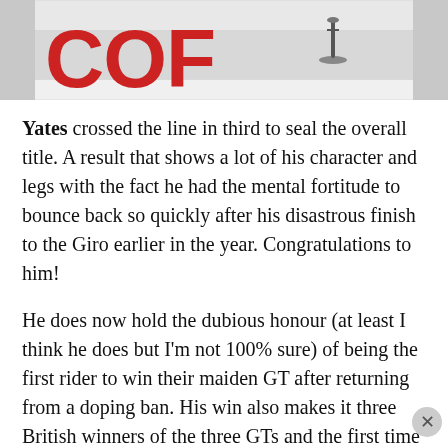[Figure (photo): Top portion of a photo showing a cycling race scene with red letters spelling 'COF' on the ground and a bicycle visible at the top]
Yates crossed the line in third to seal the overall title. A result that shows a lot of his character and legs with the fact he had the mental fortitude to bounce back so quickly after his disastrous finish to the Giro earlier in the year. Congratulations to him!
He does now hold the dubious honour (at least I think he does but I'm not 100% sure) of being the first rider to win their maiden GT after returning from a doping ban. His win also makes it three British winners of the three GTs and the first time ever that they have been separate riders. Don't think I'd be saying that when I
Advertisements
[Figure (screenshot): DuckDuckGo advertisement banner: 'Search, browse, and email with more privacy. All in One Free App' with DuckDuckGo logo on dark background]